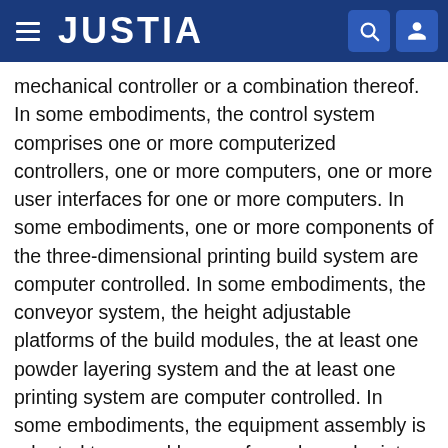JUSTIA
mechanical controller or a combination thereof. In some embodiments, the control system comprises one or more computerized controllers, one or more computers, one or more user interfaces for one or more computers. In some embodiments, one or more components of the three-dimensional printing build system are computer controlled. In some embodiments, the conveyor system, the height adjustable platforms of the build modules, the at least one powder layering system and the at least one printing system are computer controlled. In some embodiments, the equipment assembly is adapted to spread layers of powder and print droplets of liquid in a predetermined pattern according to instructions provided by a computerized controller. In some embodiments, the predetermined pattern is based on one or more two-dimensional image files comprising pixels. In some